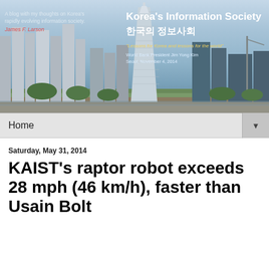[Figure (photo): Blog header banner showing Korea city skyline with tall skyscraper, buildings against blue sky. Overlaid text reads 'Korea's Information Society / 한국의 정보사회' with subtitle quote and author credit 'James F. Larson'.]
Home ▼
Saturday, May 31, 2014
KAIST's raptor robot exceeds 28 mph (46 km/h), faster than Usain Bolt